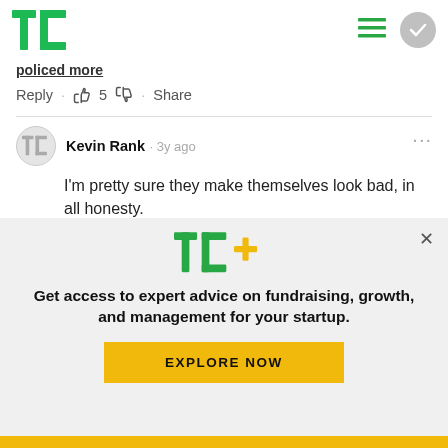[Figure (logo): TechCrunch TC logo in green, top left navigation bar]
polled more
Reply · 👍 5 👎 · Share
Kevin Rank · 3y ago
I'm pretty sure they make themselves look bad, in all honesty.
[Figure (logo): TC+ logo in green with orange plus sign]
Get access to expert advice on fundraising, growth, and management for your startup.
EXPLORE NOW